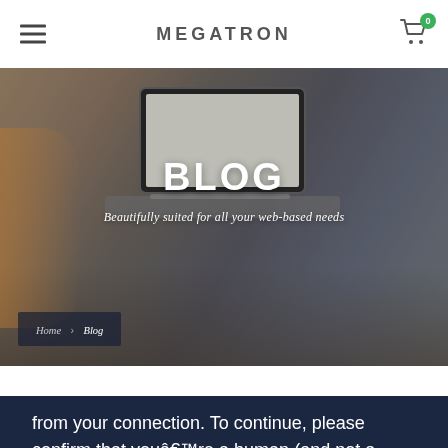MEGATRON
[Figure (screenshot): Hero banner image of a person using a laptop on a couch, with dark overlay. Shows BLOG title and subtitle text over the image.]
BLOG
Beautifully suited for all your web-based needs
Home > Blog
from your connection. To continue, please confirm that youâ€™re a human (and not a spambot).